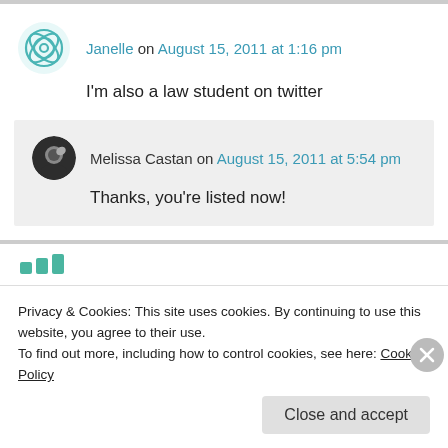Janelle on August 15, 2011 at 1:16 pm
I'm also a law student on twitter
Melissa Castan on August 15, 2011 at 5:54 pm
Thanks, you're listed now!
Privacy & Cookies: This site uses cookies. By continuing to use this website, you agree to their use. To find out more, including how to control cookies, see here: Cookie Policy
Close and accept